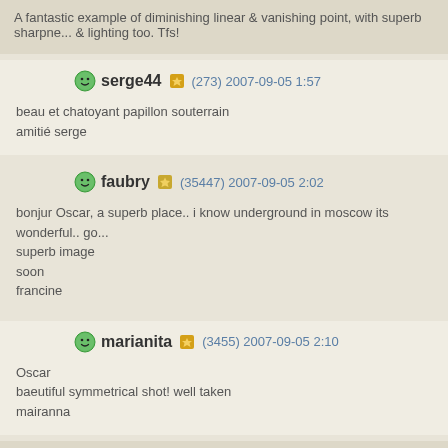A fantastic example of diminishing linear & vanishing point, with superb sharpne... & lighting too. Tfs!
serge44 (273) 2007-09-05 1:57
beau et chatoyant papillon souterrain
amitié serge
faubry (35447) 2007-09-05 2:02
bonjur Oscar, a superb place.. i know underground in moscow its wonderful.. go... superb image
soon
francine
marianita (3455) 2007-09-05 2:10
Oscar
baeutiful symmetrical shot! well taken
mairanna